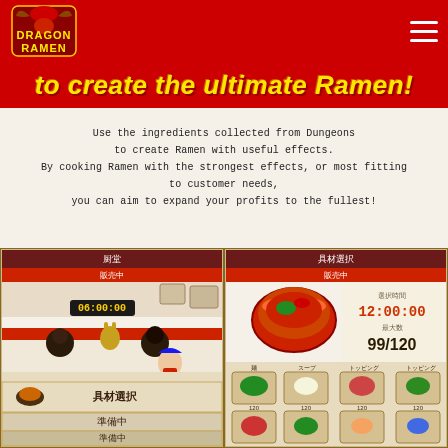Dragon Ramen - Navigation Bar with Logo
to create the ultimate Ramen!
Use the ingredients collected from Dungeons to create Ramen with useful effects. By cooking Ramen with the strongest effects, or most fitting to customer needs, you can aim to expand your profits to the fullest!
[Figure (screenshot): Left mobile game screenshot showing Dragon Ramen restaurant scene with anime-style characters sitting at counter, timer 06:00:00, and menu buttons for 具材選択 (ingredient selection) and 準備中 (preparing)]
[Figure (screenshot): Right mobile game screenshot showing ingredient selection screen 具材選択 with ramen bowl, timer 12:00:00, stock 99/120, and grid of ingredient icons including vegetables, meats, and toppings]